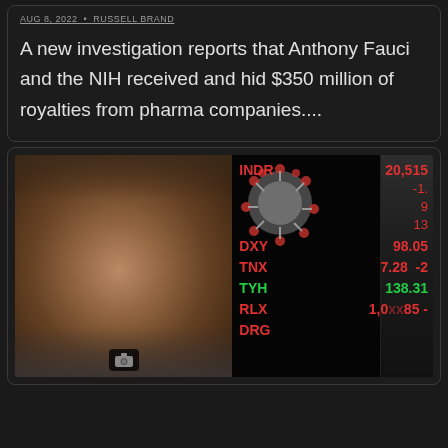AUG 8, 2022  •  RUSSELL BRAND
A new investigation reports that Anthony Fauci and the NIH received and hid $350 million of royalties from pharma companies....
[Figure (screenshot): Thumbnail image split into two panels: left panel shows a man with long wavy hair tied up, beard, speaking toward camera; right panel shows financial ticker data (INDR 20,515; DXY 98.05; TNX 7.28 -2; TYH 138.31; RLX 1,0xx; DRG) overlaid with a coronavirus particle image and a person in PPE/hazmat gear on the right edge. A camera icon appears at the bottom left of the thumbnail.]